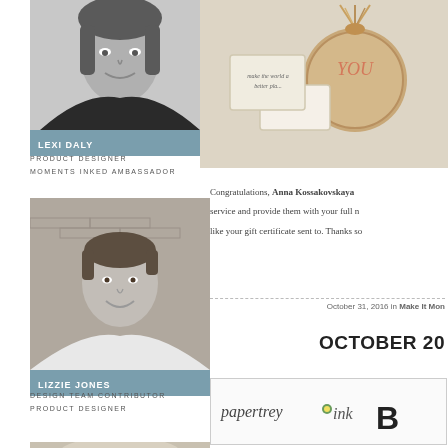[Figure (photo): Black and white headshot photo of Lexi Daly, a woman smiling at the camera]
LEXI DALY
PRODUCT DESIGNER
MOMENTS INKED AMBASSADOR
[Figure (photo): Black and white photo of Lizzie Jones, a woman with short hair smiling, brick wall background]
LIZZIE JONES
DESIGN TEAM CONTRIBUTOR
PRODUCT DESIGNER
STITCHING AMBASSADOR
NEWSLETTER COORDINATOR
[Figure (photo): Partial black and white photo of a third person, blonde hair visible at bottom]
[Figure (photo): Color photo of craft items — a round wooden tag with tassel and cards reading YOU, make the world a better place]
Congratulations, Anna Kossakovskaya service and provide them with your full n like your gift certificate sent to. Thanks so
October 31, 2016 in Make It Mon
OCTOBER 20
[Figure (logo): Papertrey Ink logo with italic text and large bold B]